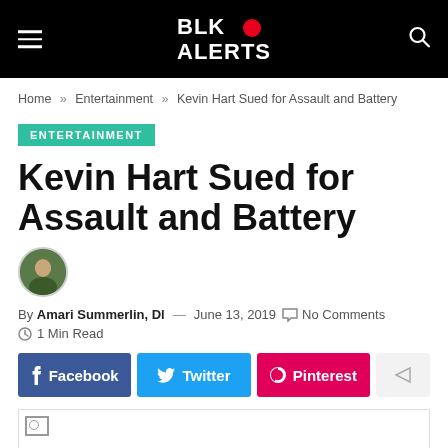BLK ALERTS
Home » Entertainment » Kevin Hart Sued for Assault and Battery
ENTERTAINMENT
Kevin Hart Sued for Assault and Battery
By Amari Summerlin, Dl — June 13, 2019  No Comments
1 Min Read
Facebook  Twitter  Pinterest
[Figure (photo): Broken image placeholder for article image]